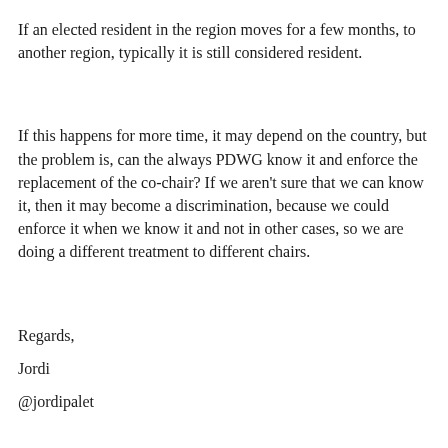If an elected resident in the region moves for a few months, to another region, typically it is still considered resident.
If this happens for more time, it may depend on the country, but the problem is, can the always PDWG know it and enforce the replacement of the co-chair? If we aren’t sure that we can know it, then it may become a discrimination, because we could enforce it when we know it and not in other cases, so we are doing a different treatment to different chairs.
Regards,
Jordi
@jordipalet